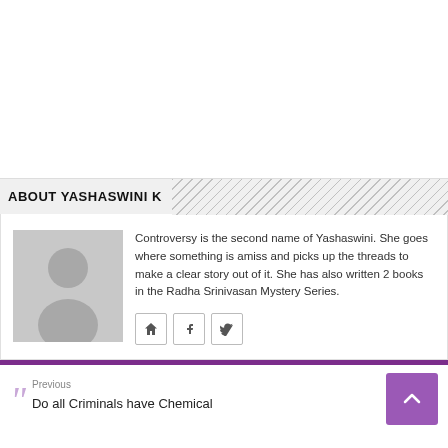ABOUT YASHASWINI K
[Figure (illustration): Generic person silhouette avatar placeholder in gray]
Controversy is the second name of Yashaswini. She goes where something is amiss and picks up the threads to make a clear story out of it. She has also written 2 books in the Radha Srinivasan Mystery Series.
Previous
Do all Criminals have Chemical